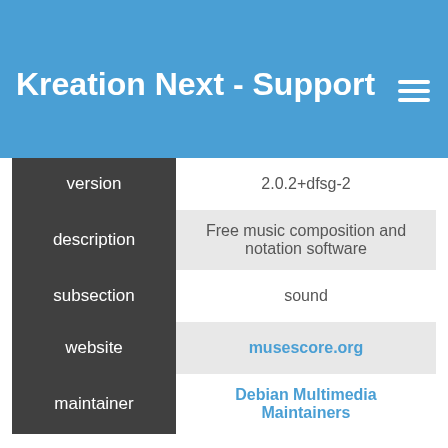Kreation Next - Support
| field | value |
| --- | --- |
| version | 2.0.2+dfsg-2 |
| description | Free music composition and notation software |
| subsection | sound |
| website | musescore.org |
| maintainer | Debian Multimedia Maintainers |
Uninstall musescore
To remove just musescore package itself from